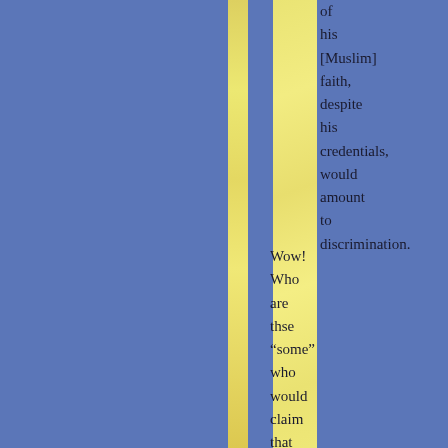of his [Muslim] faith, despite his credentials, would amount to discrimination.
Wow! Who are thse “some” who would claim that discriminating against a Muslim because